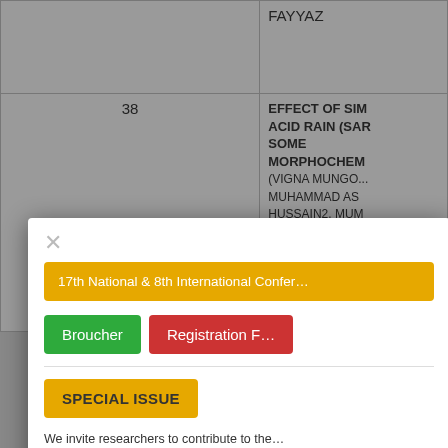|  | No. | Title / Authors |
| --- | --- | --- |
|  |  | FAYYAZ |
|  | 38 | EFFECT OF SIMULATED ACID RAIN (SAR) ON SOME MORPHOCHEMICAL... (VIGNA MUNGO...)
MUHAMMAD ASHRAF... HUSSAIN2, MUM... HUSSAIN1, MUH...
ALI MEO3 |
|  |  | RUST RESISTANCE EVALUATION OF... ADVANCED WH... |
[Figure (screenshot): Modal dialog overlay with conference banner, Broucher and Registration Form buttons, Special Issue badge, and invitation text about 'Convergence of Modern Technologies Smart Agriculture' special issue.]